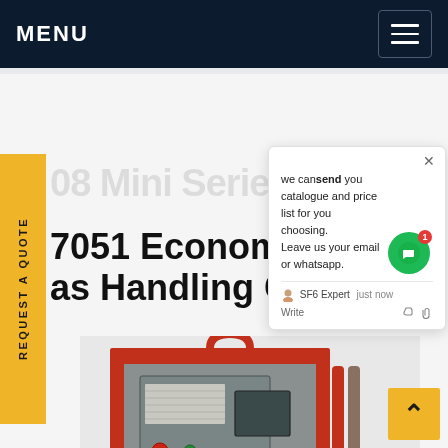MENU
7051 Economy Series Gas Handling Cart
[Figure (screenshot): Chat popup overlay with message: 'we can send you catalogue and price list for you choosing. Leave us your email or whatsapp.' with SF6 Expert agent and Write input area]
[Figure (photo): SF6 gas handling cart / economy series unit - red and grey industrial equipment with control panel]
REQUEST A QUOTE